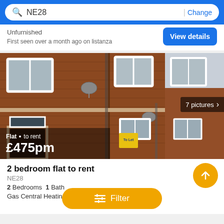NE28  | Change
Unfurnished
First seen over a month ago on listanza
View details
[Figure (photo): Exterior of a red brick terraced house/flat with white-framed windows, satellite dish, and a To Let board visible]
Flat · to rent
£475pm
7 pictures
2 bedroom flat to rent
NE28
2 Bedrooms  1 Bath
Gas Central Heating
Filter